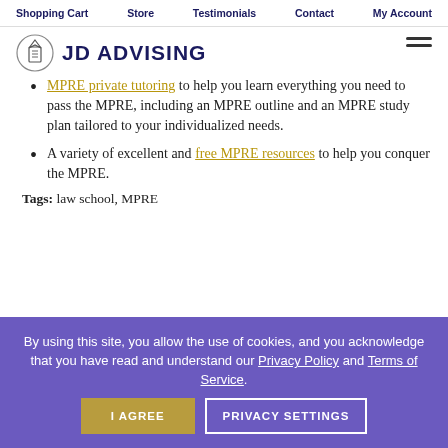Shopping Cart  Store  Testimonials  Contact  My Account
[Figure (logo): JD Advising logo with book icon and hamburger menu icon]
MPRE private tutoring to help you learn everything you need to pass the MPRE, including an MPRE outline and an MPRE study plan tailored to your individualized needs.
A variety of excellent and free MPRE resources to help you conquer the MPRE.
Tags: law school, MPRE
By using this site, you allow the use of cookies, and you acknowledge that you have read and understand our Privacy Policy and Terms of Service. I AGREE  PRIVACY SETTINGS